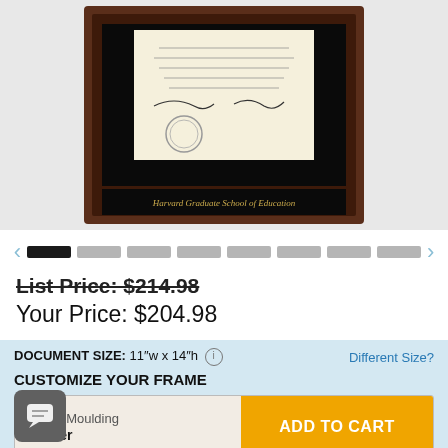[Figure (photo): Harvard Graduate School of Education diploma frame - dark wood Rainier moulding with black mat and gold lettering showing 'Harvard Graduate School of Education' on a black panel below a diploma display]
[Figure (other): Image carousel navigation with left arrow, 8 thumbnail dots (first active/dark, rest grey), and right arrow]
List Price: $214.98
Your Price: $204.98
DOCUMENT SIZE: 11"w x 14"h  Different Size?
CUSTOMIZE YOUR FRAME
Frame Moulding
Rainier
ADD TO CART
tting
Black / Auburn